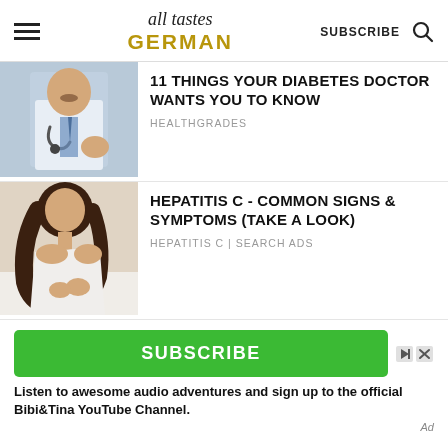all tastes GERMAN | SUBSCRIBE
[Figure (photo): Doctor in white coat with stethoscope gesturing]
11 THINGS YOUR DIABETES DOCTOR WANTS YOU TO KNOW
HEALTHGRADES
[Figure (photo): Woman in white tank top holding her back in pain]
HEPATITIS C - COMMON SIGNS & SYMPTOMS (TAKE A LOOK)
HEPATITIS C | SEARCH ADS
SUBSCRIBE
Listen to awesome audio adventures and sign up to the official Bibi&Tina YouTube Channel.
Ad